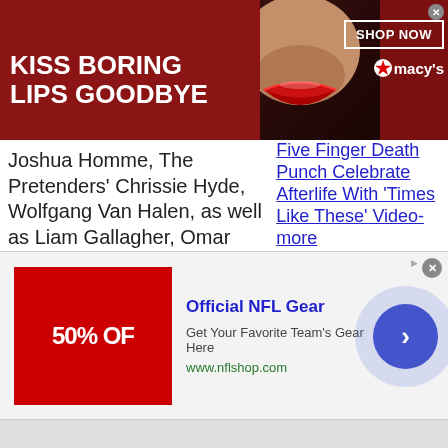[Figure (other): Advertisement banner: 'KISS BORING LIPS GOODBYE' with woman's face and red lips, Macy's branding and SHOP NOW button]
Joshua Homme, The Pretenders' Chrissie Hyde, Wolfgang Van Halen, as well as Liam Gallagher, Omar Hakim, Mark Ronson, Supergrass, Rufas Taylor, Chevy Metal and Dave Chappelle.
Five Finger Death Punch Celebrate Afterlife With 'Times Like These' Video-more
Metallica, AC/DC Stars
[Figure (other): Advertisement: Official NFL Gear - 50% OFF - Get Your Favorite Team's Gear Here - www.nflshop.com]